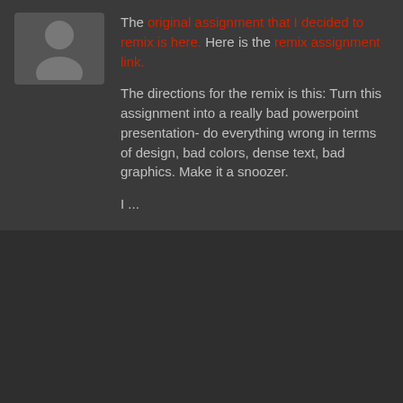[Figure (illustration): Generic user avatar silhouette on a grey background]
The original assignment that I decided to remix is here. Here is the remix assignment link. The directions for the remix is this: Turn this assignment into a really bad powerpoint presentation- do everything wrong in terms of design, bad colors, dense text, bad graphics. Make it a snoozer. I ...